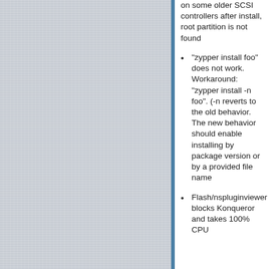on some older SCSI controllers after install, root partition is not found
"zypper install foo" does not work. Workaround: "zypper install -n foo". (-n reverts to the old behavior. The new behavior should enable installing by package version or by a provided file name
Flash/nspluginviewer blocks Konqueror and takes 100% CPU